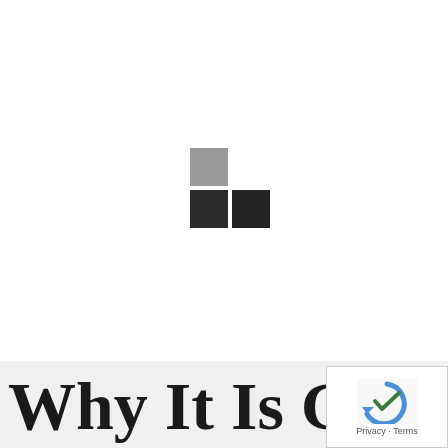[Figure (logo): A small logo consisting of three squares arranged in an L-shape: one medium grey square on the top-left, one dark square on the bottom-left, and one dark square on the bottom-right.]
Why It Is Greate